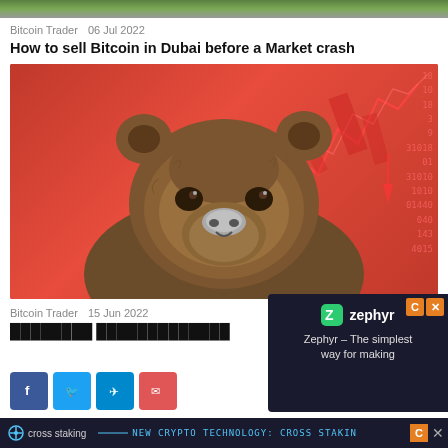[Figure (photo): Top cropped image of green foliage/nature scene (partially visible at top of page)]
Bitcoin Trader   06 Jul 2022
How to sell Bitcoin in Dubai before a Market crash
[Figure (photo): A brown bear facing forward against a red background with falling stock chart lines and binary/numeric data overlay — symbolizing a crypto market crash (bear market)]
Bitcoin Trader   15 Jun 2022
▪▪▪▪▪▪▪▪ ▪▪▪▪▪▪▪▪▪▪▪▪▪
[Figure (screenshot): Zephyr advertisement overlay: dark background with Zephyr logo and text 'Zephyr – The simplest way for making']
cross staking   NEW CRYPTO TECHNOLOGY: CROSS STAKING